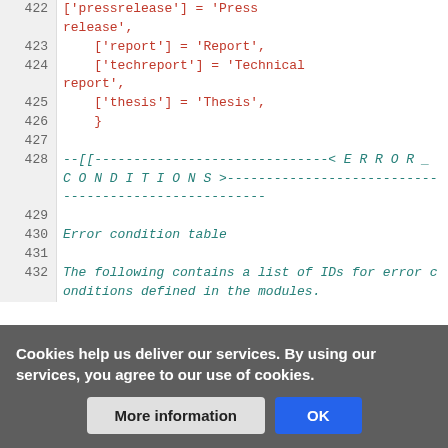422   ['pressrelease'] = 'Press release',
423   ['report'] = 'Report',
424   ['techreport'] = 'Technical report',
425   ['thesis'] = 'Thesis',
426   }
427   
428   --[[------------------------------< E R R O R _ C O N D I T I O N S >-----------------------------------------------
429   
430   Error condition table
431   
432   The following contains a list of IDs for error conditions defined in the modules.
Cookies help us deliver our services. By using our services, you agree to our use of cookies.